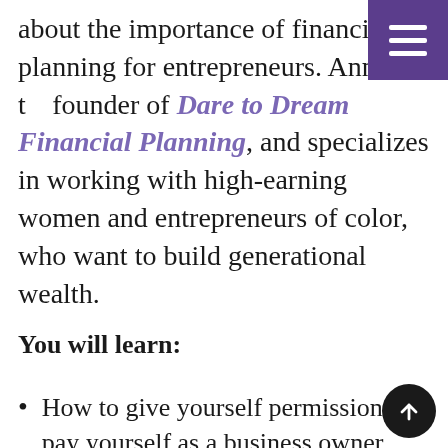about the importance of financial planning for entrepreneurs. Anna is the founder of Dare to Dream Financial Planning, and specializes in working with high-earning women and entrepreneurs of color, who want to build generational wealth.
You will learn:
How to give yourself permission to pay yourself as a business owner.
Why it is important to know the